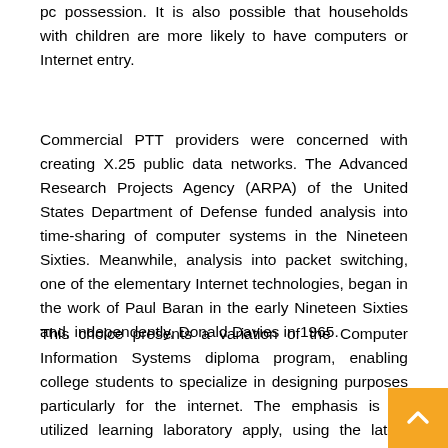pc possession. It is also possible that households with children are more likely to have computers or Internet entry.
Commercial PTT providers were concerned with creating X.25 public data networks. The Advanced Research Projects Agency (ARPA) of the United States Department of Defense funded analysis into time-sharing of computer systems in the Nineteen Sixties. Meanwhile, analysis into packet switching, one of the elementary Internet technologies, began in the work of Paul Baran in the early Nineteen Sixties and, independently, Donald Davies in 1965.
This choice presents a variation of the Computer Information Systems diploma program, enabling college students to specialize in designing purposes particularly for the internet. The emphasis is on utilized learning laboratory apply, using the latest hardware and software program. Internet a system structure that has